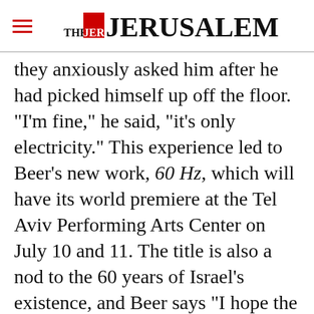THE JERUSALEM POST
they anxiously asked him after he had picked himself up off the floor. "I'm fine," he said, "it's only electricity." This experience led to Beer's new work, 60 Hz, which will have its world premiere at the Tel Aviv Performing Arts Center on July 10 and 11. The title is also a nod to the 60 years of Israel's existence, and Beer says "I hope the work will stimulate some questions about the nature and quality of our individual and collective lives here. The movement and design world I make
Advertisement